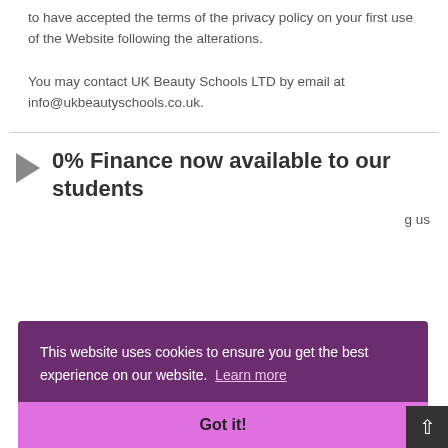to have accepted the terms of the privacy policy on your first use of the Website following the alterations.
You may contact UK Beauty Schools LTD by email at info@ukbeautyschools.co.uk.
0% Finance now available to our students
…g us
Access to our elearning portal, you'll be granted access once
This website uses cookies to ensure you get the best experience on our website. Learn more
Got it!